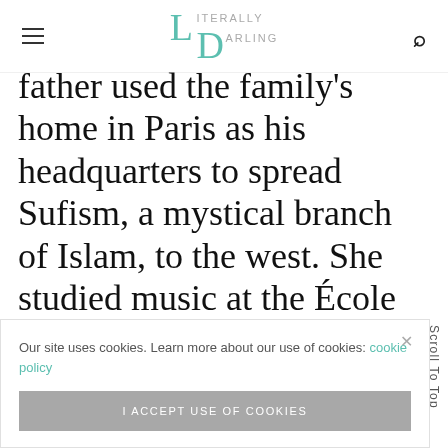Literally Darling
father used the family's home in Paris as his headquarters to spread Sufism, a mystical branch of Islam, to the west. She studied music at the École Normale de Musique de Paris and published children's books.
Our site uses cookies. Learn more about our use of cookies: cookie policy
I ACCEPT USE OF COOKIES
r was
d
couldn't
Scroll To Top